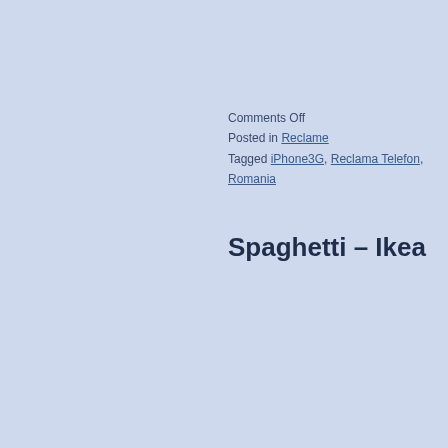Comments Off
Posted in Reclame
Tagged iPhone3G, Reclama Telefon, Romania
Spaghetti – Ikea